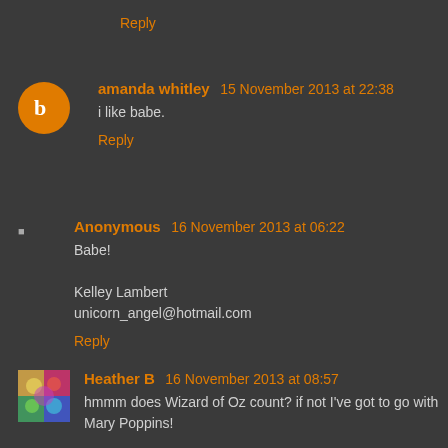Reply
amanda whitley  15 November 2013 at 22:38
i like babe.
Reply
Anonymous  16 November 2013 at 06:22
Babe!

Kelley Lambert
unicorn_angel@hotmail.com
Reply
Heather B  16 November 2013 at 08:57
hmmm does Wizard of Oz count? if not I've got to go with Mary Poppins!